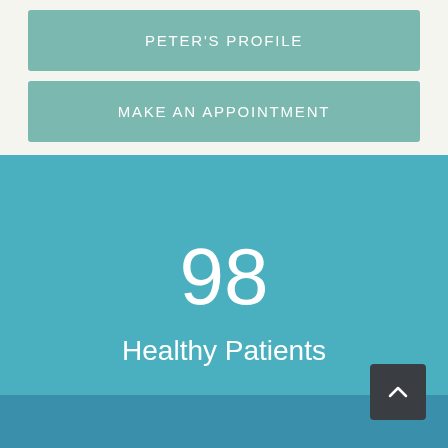PETER'S PROFILE
MAKE AN APPOINTMENT
98
Healthy Patients